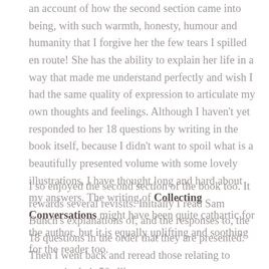an account of how the second section came into being, with such warmth, humour and humanity that I forgive her the few tears I spilled en route! She has the ability to explain her life in a way that made me understand perfectly and wish I had the same quality of expression to articulate my own thoughts and feelings. Although I haven't yet responded to her 18 questions by writing in the book itself, because I didn't want to spoil what is a beautifully presented volume with some lovely illustrations, I have thought long and hard about my answers. The writing of Collecting Conversations might have been quite cathartic for the author, but it is equally uplifting and soothing for the reader too.
I so enjoyed the second section of the book too. It rewards several revisits. Initially I read Sam Bunch's explanations of, and the responses to, the 18 questions in the order that they are presented. Then I went back and reread those relating to women in their 50s like me